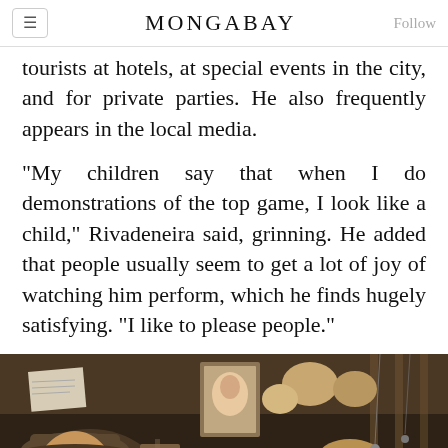MONGABAY
tourists at hotels, at special events in the city, and for private parties. He also frequently appears in the local media.
“My children say that when I do demonstrations of the top game, I look like a child,” Rivadeneira said, grinning. He added that people usually seem to get a lot of joy of watching him perform, which he finds hugely satisfying. “I like to please people.”
[Figure (photo): An elderly man wearing a hat stands amid a crowded market stall filled with antiques, crafts, framed photographs, wooden items, and various hanging goods.]